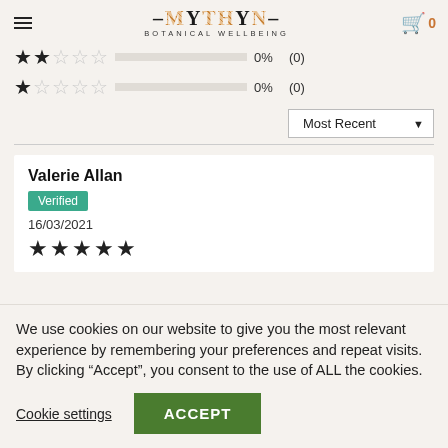MYTHYN BOTANICAL WELLBEING — navigation header with cart showing 0
★★☆☆☆  0%  (0)
★☆☆☆☆  0%  (0)
Most Recent ▼ (sort dropdown)
Valerie Allan
Verified
16/03/2021
★★★★★
We use cookies on our website to give you the most relevant experience by remembering your preferences and repeat visits. By clicking "Accept", you consent to the use of ALL the cookies.
Cookie settings
ACCEPT